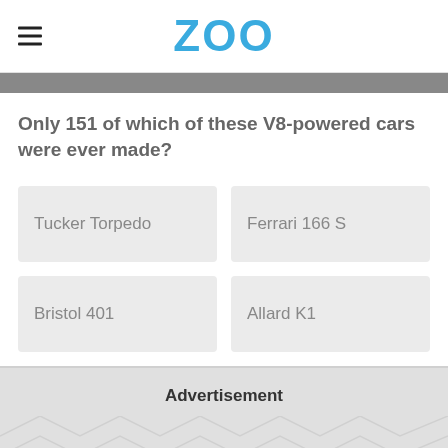ZOO
Only 151 of which of these V8-powered cars were ever made?
Tucker Torpedo
Ferrari 166 S
Bristol 401
Allard K1
Advertisement